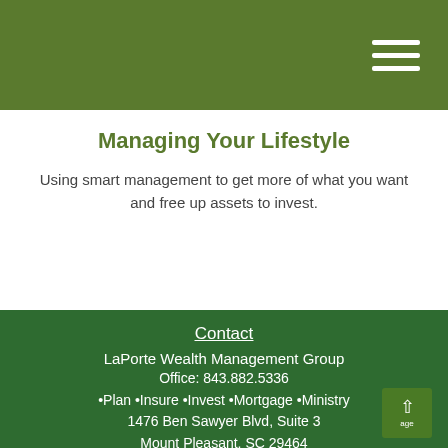Managing Your Lifestyle
Using smart management to get more of what you want and free up assets to invest.
Contact
LaPorte Wealth Management Group
Office: 843.882.5336
•Plan •Insure •Invest •Mortgage •Ministry
1476 Ben Sawyer Blvd, Suite 3
Mount Pleasant, SC 29464
Series 6, 7, 63, and 65 Securities Registrations; life, health, accident, long-term-care, and disability insurance; mortgage
dustin@dustinlaporte.com